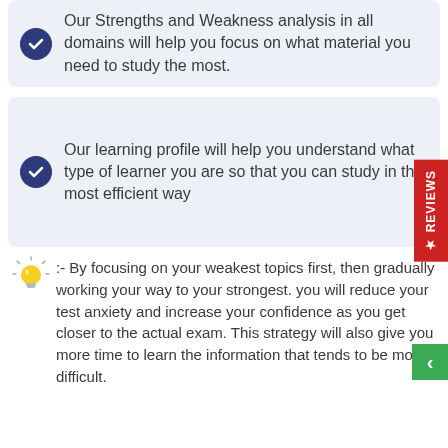Our Strengths and Weakness analysis in all domains will help you focus on what material you need to study the most.
Our learning profile will help you understand what type of learner you are so that you can study in the most efficient way
:- By focusing on your weakest topics first, then gradually working your way to your strongest. you will reduce your test anxiety and increase your confidence as you get closer to the actual exam. This strategy will also give you more time to learn the information that tends to be more difficult.